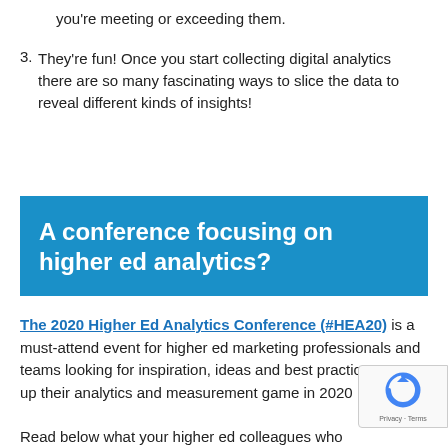you're meeting or exceeding them.
3. They're fun! Once you start collecting digital analytics there are so many fascinating ways to slice the data to reveal different kinds of insights!
A conference focusing on higher ed analytics?
The 2020 Higher Ed Analytics Conference (#HEA20) is a must-attend event for higher ed marketing professionals and teams looking for inspiration, ideas and best practices to step up their analytics and measurement game in 2020
Read below what your higher ed colleagues who